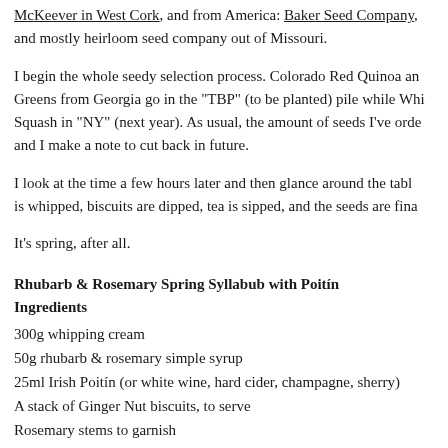McKeever in West Cork, and from America: Baker Seed Company, and mostly heirloom seed company out of Missouri.
I begin the whole seedy selection process. Colorado Red Quinoa and Greens from Georgia go in the "TBP" (to be planted) pile while Whi Squash in "NY" (next year). As usual, the amount of seeds I've orde and I make a note to cut back in future.
I look at the time a few hours later and then glance around the tabl is whipped, biscuits are dipped, tea is sipped, and the seeds are fina
It's spring, after all.
Rhubarb & Rosemary Spring Syllabub with Poitín
Ingredients
300g whipping cream
50g rhubarb & rosemary simple syrup
25ml Irish Poitín (or white wine, hard cider, champagne, sherry)
A stack of Ginger Nut biscuits, to serve
Rosemary stems to garnish
Method